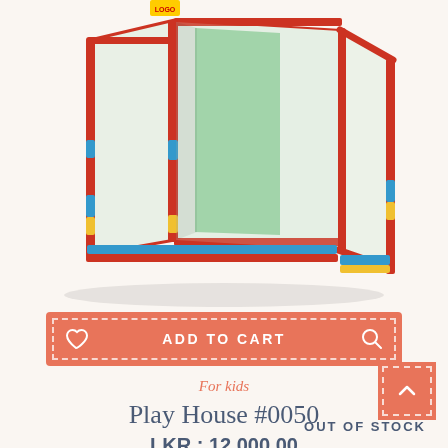[Figure (photo): A colorful children's play house with red, blue, yellow and green plastic frame and transparent mesh panels, viewed from a slight angle showing three sides.]
ADD TO CART
For kids
Play House #0050
LKR : 12,000.00
★★★★★
OUT OF STOCK